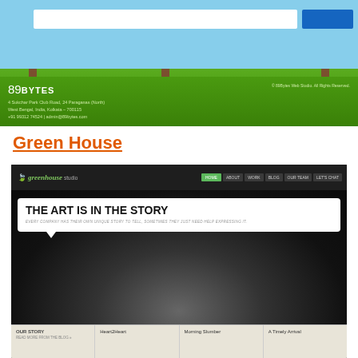[Figure (screenshot): Screenshot of 89Bytes website showing a cartoon outdoor scene with trees, sky background, and a green footer with the 89Bytes logo, address, and copyright notice.]
Green House
[Figure (screenshot): Screenshot of Greenhouse Studio website showing dark themed header with navigation (HOME, ABOUT, WORK, BLOG, OUR TEAM, LET'S CHAT), a hero section with speech bubble saying 'THE ART IS IN THE STORY' with subtext 'EVERY COMPANY HAS THEIR OWN UNIQUE STORY TO TELL, SOMETIMES THEY JUST NEED HELP EXPRESSING IT.', a black-and-white photo of a smiling woman, and a bottom strip with sections: OUR STORY, Heart2Heart, Morning Slumber, A Timely Arrival.]